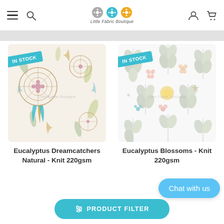Little Fabric Boutique — navigation header with hamburger menu, search, logo, user and cart icons
[Figure (photo): Product image of Eucalyptus Dreamcatchers Natural fabric with teal IN STOCK badge]
Eucalyptus Dreamcatchers Natural - Knit 220gsm
[Figure (photo): Product image of Eucalyptus Blossoms fabric with teal IN STOCK badge]
Eucalyptus Blossoms - Knit 220gsm
Chat with us
PRODUCT FILTER